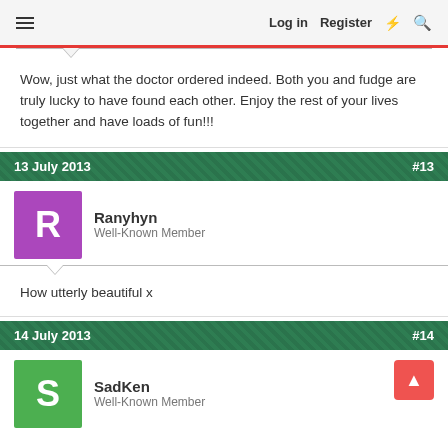Log in   Register
Wow, just what the doctor ordered indeed. Both you and fudge are truly lucky to have found each other. Enjoy the rest of your lives together and have loads of fun!!!
13 July 2013   #13
Ranyhyn
Well-Known Member
How utterly beautiful x
14 July 2013   #14
SadKen
Well-Known Member